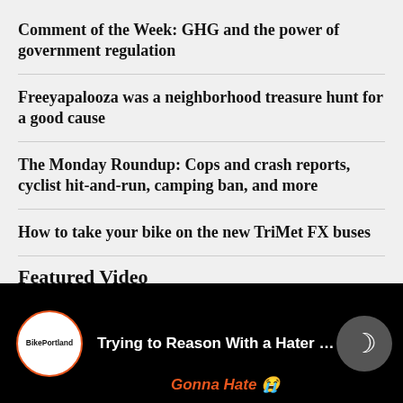Comment of the Week: GHG and the power of government regulation
Freeyapalooza was a neighborhood treasure hunt for a good cause
The Monday Roundup: Cops and crash reports, cyclist hit-and-run, camping ban, and more
How to take your bike on the new TriMet FX buses
Featured Video
[Figure (screenshot): Video thumbnail showing BikePortland logo, title 'Trying to Reason With a Hater o...', orange text 'Gonna Hate' with emoji, a crescent moon/dark mode icon button, and a partial image of a car with a person.]